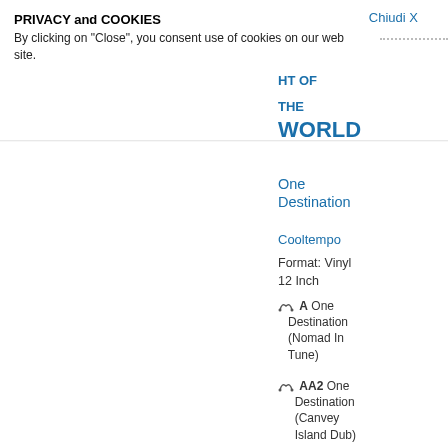PRIVACY and COOKIES
By clicking on "Close", you consent use of cookies on our web site.
Chiudi X
LIGHT OF THE WORLD One Destination
Cooltempo
Format: Vinyl 12 Inch
A One Destination (Nomad In Tune)
AA2 One Destination (Canvey Island Dub)
LIVING COLOUR AuslAnder (Mixes By Adrian Sherwood / Skip McDonald & Sascha (KMFDM))
Epic
Format: Vinyl